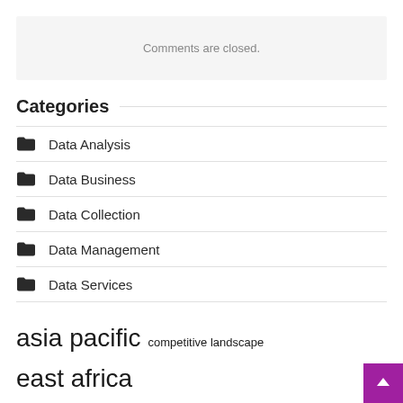Comments are closed.
Categories
Data Analysis
Data Business
Data Collection
Data Management
Data Services
asia pacific  competitive landscape  east africa  europe asia  forecast period  growth rate  market players